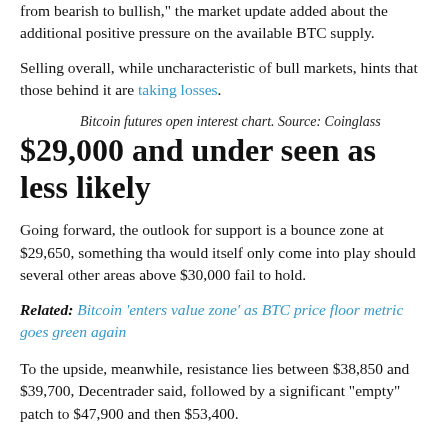from bearish to bullish," the market update added about the additional positive pressure on the available BTC supply.
Selling overall, while uncharacteristic of bull markets, hints that those behind it are taking losses.
Bitcoin futures open interest chart. Source: Coinglass
$29,000 and under seen as less likely
Going forward, the outlook for support is a bounce zone at $29,650, something tha would itself only come into play should several other areas above $30,000 fail to hold.
Related: Bitcoin ‘enters value zone’ as BTC price floor metric goes green again
To the upside, meanwhile, resistance lies between $38,850 and $39,700, Decentrader said, followed by a significant “empty” patch to $47,900 and then $53,400.